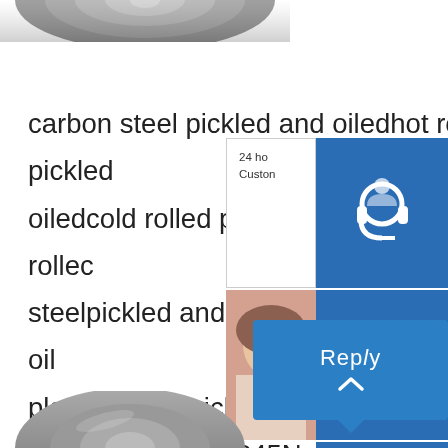[Figure (photo): Partial circular view of hot rolled steel coil from above, grayscale metallic surface]
carbon steel pickled and oiledhot rolled pickled and oiledcold rolled pickled and oiledhot rolled steelpickled and oiled steelpickled and oiled platewelding pickled and oiled steelpainting and oiled steel12345NextVideos of Pickled Carbon Hot Rolled Steel Coilsp.info Watch Rolled Steel/carbon Steel Plate From China 92.0%.Contact SupplierChina manufacturehot rolled steel coil pickled and oiled
[Figure (screenshot): Customer service chat widget overlay with headset icon, phone icon, Skype icon, Chat Now button, and Reply button on blue background]
[Figure (photo): Partial view of steel coil from below, grayscale metallic surface]